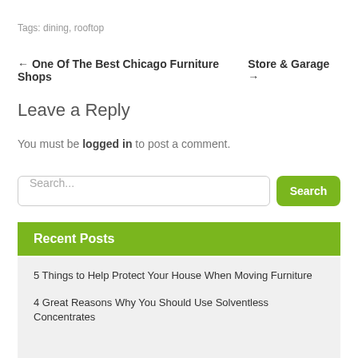Tags: dining, rooftop
← One Of The Best Chicago Furniture Shops   Store & Garage →
Leave a Reply
You must be logged in to post a comment.
Search...
Recent Posts
5 Things to Help Protect Your House When Moving Furniture
4 Great Reasons Why You Should Use Solventless Concentrates